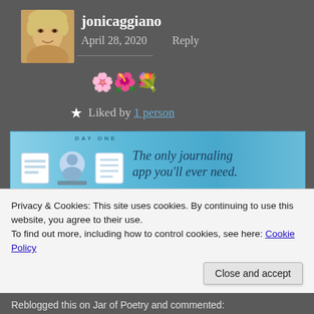jonicaggiano
April 28, 2020   Reply
🌸🌺💐
★ Liked by 1 person
[Figure (other): Day One journaling app advertisement banner with app icons and text: The only journaling app you'll ever need.]
Privacy & Cookies: This site uses cookies. By continuing to use this website, you agree to their use.
To find out more, including how to control cookies, see here: Cookie Policy
Close and accept
Reblogged this on Jar of Poetry and commented: